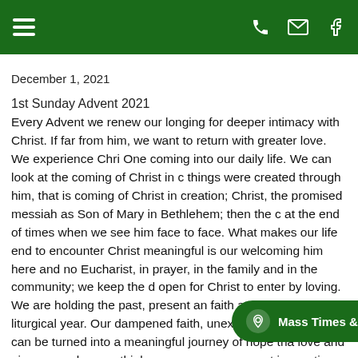Navigation header with hamburger menu, phone, email, and Facebook icons
December 1, 2021
1st Sunday Advent 2021
Every Advent we renew our longing for deeper intimacy with Christ. If far from him, we want to return with greater love. We experience Christ, One coming into our daily life. We can look at the coming of Christ in c things were created through him, that is coming of Christ in creation; Christ, the promised messiah as Son of Mary in Bethlehem; then the c at the end of times when we see him face to face. What makes our life end to encounter Christ meaningful is our welcoming him here and no Eucharist, in prayer, in the family and in the community; we keep the d open for Christ to enter by loving. We are holding the past, present an faith at this turn of a new liturgical year. Our dampened faith, unexciti toils and pain, all can be turned into a meaningful journey of hope tha love and give even when we think t in practice patient hope! Carlo Carr s a patient, learn to wait for each other for love, for happiness, for Go